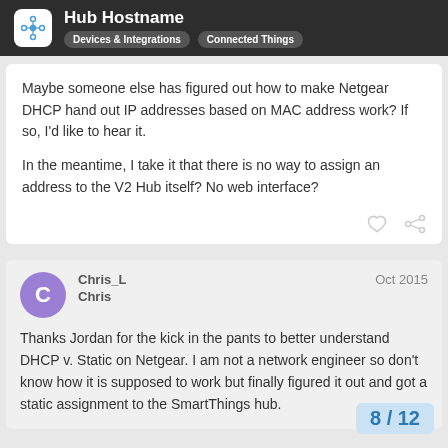Hub Hostname — Devices & Integrations, Connected Things
Maybe someone else has figured out how to make Netgear DHCP hand out IP addresses based on MAC address work? If so, I'd like to hear it.

In the meantime, I take it that there is no way to assign an address to the V2 Hub itself? No web interface?
Thanks Jordan for the kick in the pants to better understand DHCP v. Static on Netgear. I am not a network engineer so don't know how it is supposed to work but finally figured it out and got a static assignment to the SmartThings hub.
8 / 12